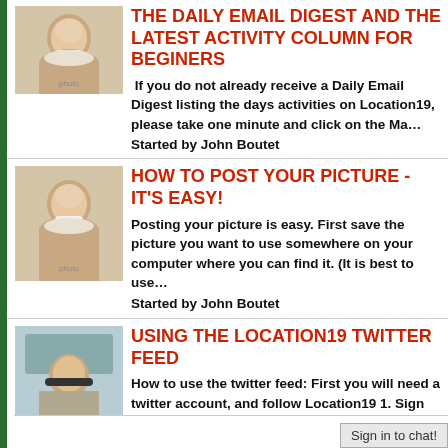[Figure (photo): Avatar photo of older man with white beard]
THE DAILY EMAIL DIGEST AND THE LATEST ACTIVITY COLUMN FOR BEGINERS
If you do not already receive a Daily Email Digest listing the days activities on Location19,  please take one minute and click on the Ma…
Started by John Boutet
[Figure (photo): Avatar photo of older man with white beard]
HOW TO POST YOUR PICTURE - IT'S EASY!
Posting your picture is easy. First save the picture you want to use somewhere on your computer where you can find it. (It is best to use…
Started by John Boutet
[Figure (photo): Avatar photo of person wearing hat]
USING THE LOCATION19 TWITTER FEED
How to use the twitter feed: First you will need a twitter account, and follow Location19 1. Sign up for a free Twitter account at http://T…
Started by Shawn
Sign in to chat!